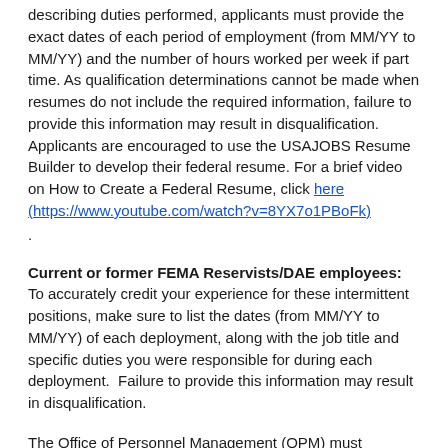describing duties performed, applicants must provide the exact dates of each period of employment (from MM/YY to MM/YY) and the number of hours worked per week if part time. As qualification determinations cannot be made when resumes do not include the required information, failure to provide this information may result in disqualification. Applicants are encouraged to use the USAJOBS Resume Builder to develop their federal resume. For a brief video on How to Create a Federal Resume, click here (https://www.youtube.com/watch?v=8YX7o1PBoFk)
.
Current or former FEMA Reservists/DAE employees: To accurately credit your experience for these intermittent positions, make sure to list the dates (from MM/YY to MM/YY) of each deployment, along with the job title and specific duties you were responsible for during each deployment.  Failure to provide this information may result in disqualification.
The Office of Personnel Management (OPM) must authorize employment offers made to current or former political appointees.  If you are currently, or have been within the last 5 years, a political Schedule A, Schedule C, Non-career SES or Presidential Appointee employee in the Executive Branch, you must disclose this information to the Human Resources Office.
Education